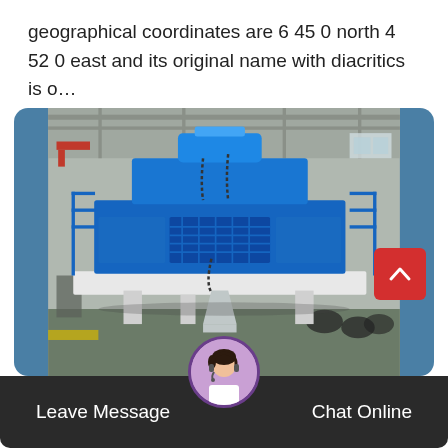geographical coordinates are 6 45 0 north 4 52 0 east and its original name with diacritics is o…
[Figure (photo): Large industrial blue machine (likely a vertical shaft impact crusher or similar heavy equipment) mounted on a white steel platform with legs, photographed inside a large industrial warehouse/factory setting. The machine has blue painted metal housing, walkway railings, and hanging chains.]
Leave Message
Chat Online